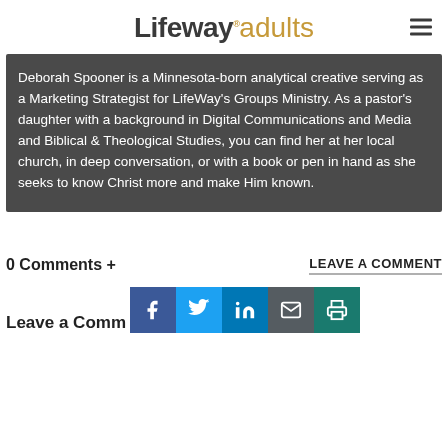Lifeway.adults
Deborah Spooner is a Minnesota-born analytical creative serving as a Marketing Strategist for LifeWay's Groups Ministry. As a pastor's daughter with a background in Digital Communications and Media and Biblical & Theological Studies, you can find her at her local church, in deep conversation, or with a book or pen in hand as she seeks to know Christ more and make Him known.
0 Comments +
LEAVE A COMMENT
Leave a Comm...
[Figure (infographic): Social share buttons: Facebook, Twitter, LinkedIn, Email, Print]